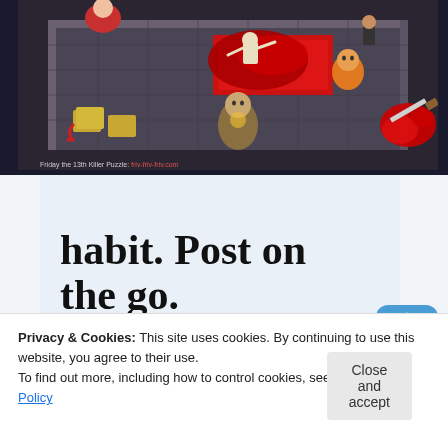[Figure (screenshot): Screenshot of Friday the 13th Killer Puzzle game showing an isometric view of a room with characters and blood splatter effects. A red blood splatter graphic appears in the bottom-right corner of the image.]
Friday the 13th Killer Puzzle: friv-friv-friv.com
[Figure (screenshot): WordPress mobile app advertisement showing text 'habit. Post on the go.' with a 'GET THE APP' call to action and WordPress logo icon.]
Privacy & Cookies: This site uses cookies. By continuing to use this website, you agree to their use.
To find out more, including how to control cookies, see here: Cookie Policy
Close and accept